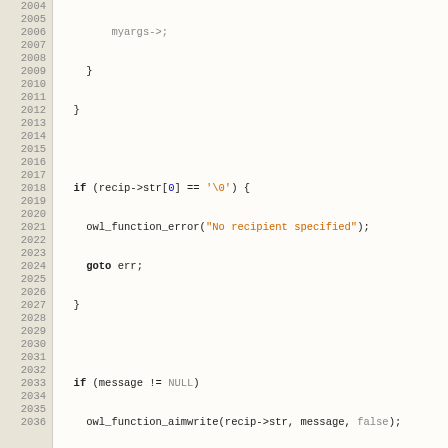[Figure (screenshot): Source code screenshot showing C code lines 2004-2036, with syntax highlighting. Line numbers shown in a tan/beige gutter on the left. Code includes owl_command functions with keywords, strings, and control flow.]